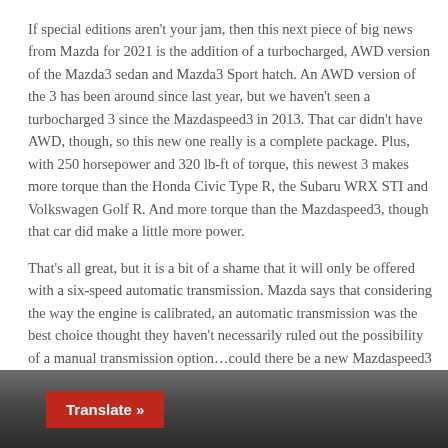If special editions aren't your jam, then this next piece of big news from Mazda for 2021 is the addition of a turbocharged, AWD version of the Mazda3 sedan and Mazda3 Sport hatch. An AWD version of the 3 has been around since last year, but we haven't seen a turbocharged 3 since the Mazdaspeed3 in 2013. That car didn't have AWD, though, so this new one really is a complete package. Plus, with 250 horsepower and 320 lb-ft of torque, this newest 3 makes more torque than the Honda Civic Type R, the Subaru WRX STI and Volkswagen Golf R. And more torque than the Mazdaspeed3, though that car did make a little more power.
That's all great, but it is a bit of a shame that it will only be offered with a six-speed automatic transmission. Mazda says that considering the way the engine is calibrated, an automatic transmission was the best choice thought they haven't necessarily ruled out the possibility of a manual transmission option...could there be a new Mazdaspeed3 coming? Perhaps.
[Figure (photo): Partial photo of a car wheel/interior with a red 'Translate »' button overlay in the bottom-left corner]